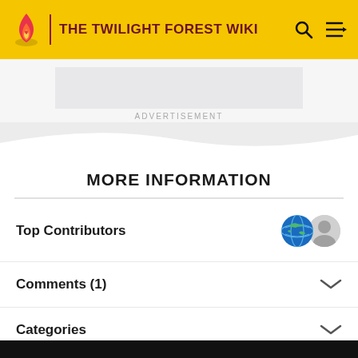THE TWILIGHT FOREST WIKI
[Figure (screenshot): Advertisement placeholder area (gray rectangle)]
ADVERTISEMENT
MORE INFORMATION
Top Contributors
Comments (1)
Categories
Community content is available under CC-BY-SA unless otherwise noted.